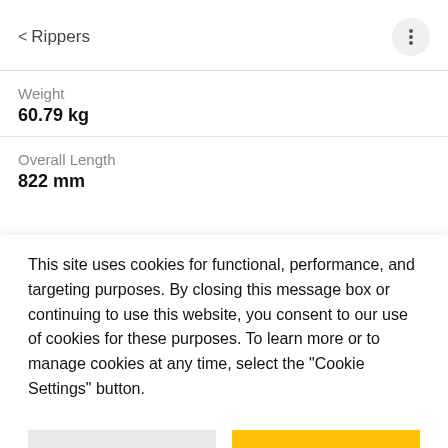< Rippers
Weight
60.79 kg
Overall Length
822 mm
This site uses cookies for functional, performance, and targeting purposes. By closing this message box or continuing to use this website, you consent to our use of cookies for these purposes. To learn more or to manage cookies at any time, select the "Cookie Settings" button.
Cookie Settings
Close